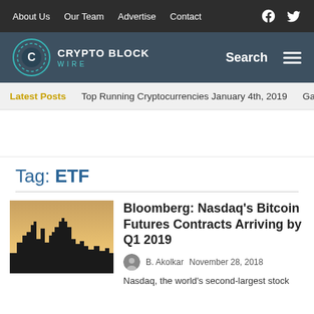About Us  Our Team  Advertise  Contact
[Figure (logo): Crypto Block Wire logo with teal circular C emblem]
Search
Latest Posts  Top Running Cryptocurrencies January 4th, 2019  Gamin
Tag: ETF
[Figure (photo): City skyline silhouette at sunset with warm orange/yellow sky]
Bloomberg: Nasdaq's Bitcoin Futures Contracts Arriving by Q1 2019
B. Akolkar  November 28, 2018
Nasdaq, the world's second-largest stock